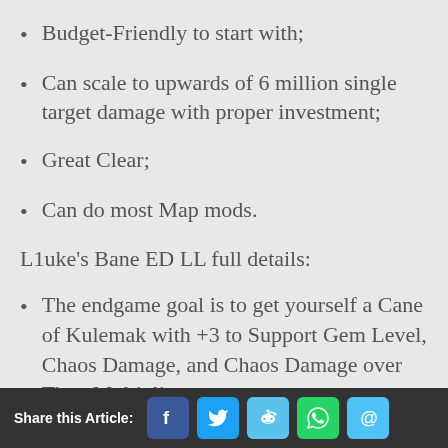Budget-Friendly to start with;
Can scale to upwards of 6 million single target damage with proper investment;
Great Clear;
Can do most Map mods.
L1uke’s Bane ED LL full details:
The endgame goal is to get yourself a Cane of Kulemak with +3 to Support Gem Level, Chaos Damage, and Chaos Damage over Time Multiplier,
Share this Article: